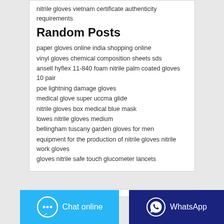nitrile gloves vietnam certificate authenticity requirements
Random Posts
paper gloves online india shopping online
vinyl gloves chemical composition sheets sds
ansell hyflex 11-840 foam nitrile palm coated gloves 10 pair
poe lightning damage gloves
medical glove super uccma glide
nitrile gloves box medical blue mask
lowes nitrile gloves medium
bellingham tuscany garden gloves for men
equipment for the production of nitrile gloves nitrile work gloves
gloves nitrile safe touch glucometer lancets